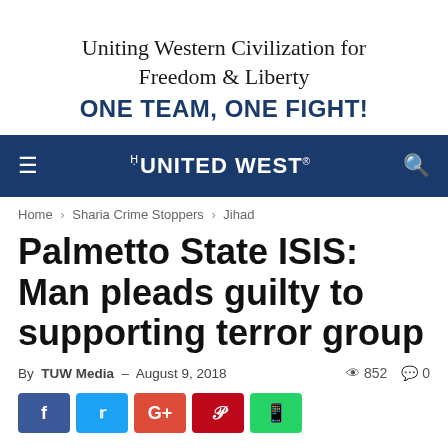Uniting Western Civilization for Freedom & Liberty
ONE TEAM, ONE FIGHT!
[Figure (logo): The United West navigation bar logo with hamburger menu and search icon on dark blue background]
Home › Sharia Crime Stoppers › Jihad
Palmetto State ISIS: Man pleads guilty to supporting terror group
By TUW Media – August 9, 2018  852  0
[Figure (infographic): Social sharing buttons: Facebook, Twitter, Google+, Pinterest, WhatsApp]